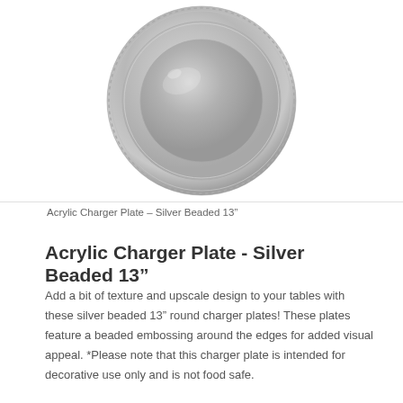[Figure (photo): Silver beaded acrylic charger plate, round, viewed from above, showing beaded embossing around the outer edge and a reflective silver surface with a slightly raised center.]
Acrylic Charger Plate – Silver Beaded 13″
Acrylic Charger Plate - Silver Beaded 13″
Add a bit of texture and upscale design to your tables with these silver beaded 13" round charger plates! These plates feature a beaded embossing around the edges for added visual appeal. *Please note that this charger plate is intended for decorative use only and is not food safe.